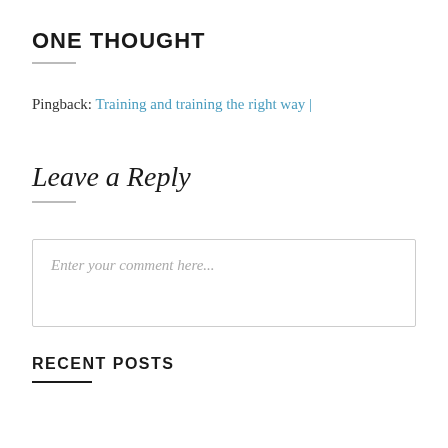ONE THOUGHT
Pingback: Training and training the right way |
Leave a Reply
Enter your comment here...
RECENT POSTS